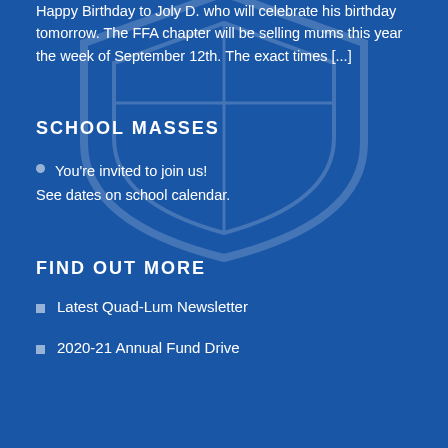Happy Birthday to Joly D. who will celebrate his birthday tomorrow. The FFA chapter will be selling mums this year the week of September 12th. The exact times [...]
SCHOOL MASSES
You're invited to join us! See dates on school calendar.
FIND OUT MORE
Latest Quad-Lum Newsletter
2020-21 Annual Fund Drive